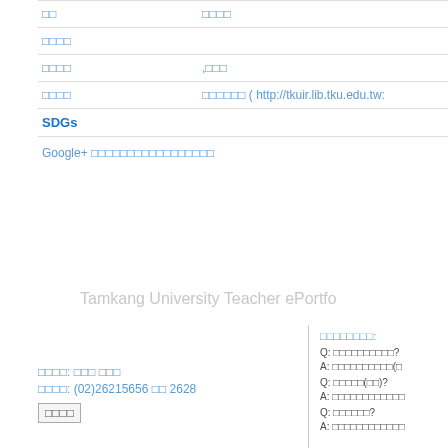| □□ | □□□□ |
| --- | --- |
| □□□□ |  |
| □□□□ | ,□□□ |
| □□□□ | □□□□□□ ( http://tkuir.lib.tku.edu.tw: |
SDGs
Google+ □□□□□□□□□□□□□□□□□
Tamkang University Teacher ePortfo
□□□□□□□□:
Q: □□□□□□□□□□?
A: □□□□□□□□□□(□
Q: □□□□□(□□)?
A: □□□□□□□□□□□□
Q: □□□□□□?
A: □□□□□□□□□□□□
□□□□: □□□ □□□
□□□□: (02)26215656 □□ 2628
□□□□